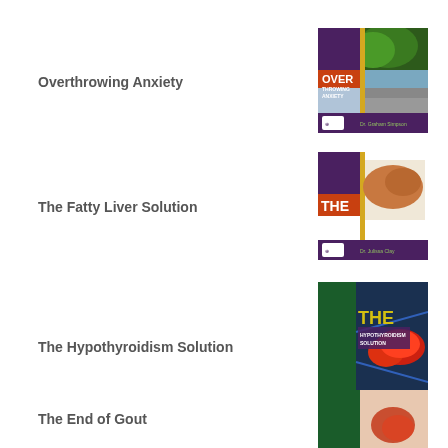Overthrowing Anxiety
[Figure (illustration): Book cover for 'Overthrowing Anxiety' showing a tree shaped like a human head and text 'OVER THROWING ANXIETY']
The Fatty Liver Solution
[Figure (illustration): Book cover for 'The Fatty Liver Solution' showing a liver image and text 'THE FATTY LIVER SOLUTION']
The Hypothyroidism Solution
[Figure (illustration): Book cover for 'The Hypothyroidism Solution' showing a thyroid gland image and text 'THE HYPOTHYROIDISM SOLUTION' by Dr. Jim Kerr]
The End of Gout
[Figure (illustration): Book cover for 'The End of Gout' showing a partial view with green and a foot/gout image]